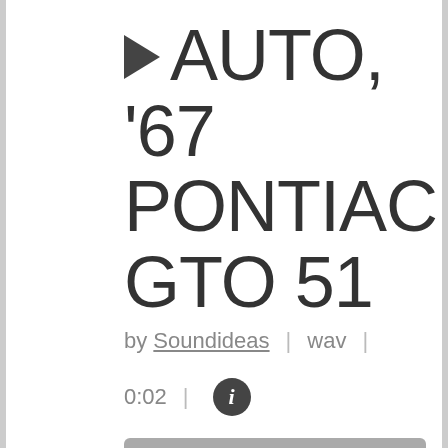▶ AUTO, '67 PONTIAC GTO 51
by Soundideas  |  wav  |
0:02  |  ℹ
Subscribe $1
Add to Cart